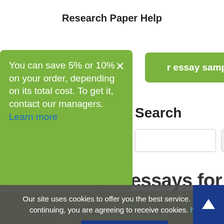Research Paper Help
You can save 5% or 10% on your order, depending on its total cost. To get it, contact our managers. Learn more
essay sample!
Search
Find example essays for
Our site uses cookies to offer you the best service. By continuing, you are agreeing to receive cookies. more
Accept Cookies